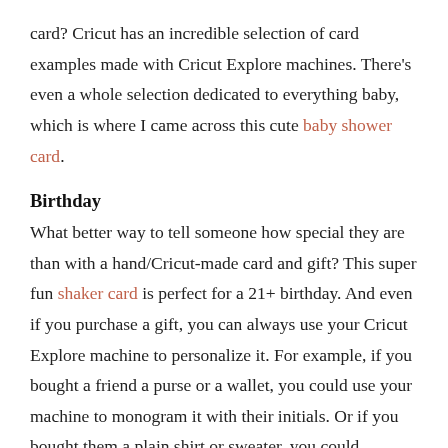card? Cricut has an incredible selection of card examples made with Cricut Explore machines. There's even a whole selection dedicated to everything baby, which is where I came across this cute baby shower card.
Birthday
What better way to tell someone how special they are than with a hand/Cricut-made card and gift? This super fun shaker card is perfect for a 21+ birthday. And even if you purchase a gift, you can always use your Cricut Explore machine to personalize it. For example, if you bought a friend a purse or a wallet, you could use your machine to monogram it with their initials. Or if you bought them a plain shirt or sweater, you could customize it with a fun image or statement.